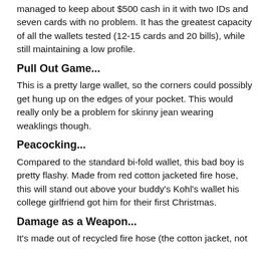managed to keep about $500 cash in it with two IDs and seven cards with no problem. It has the greatest capacity of all the wallets tested (12-15 cards and 20 bills), while still maintaining a low profile.
Pull Out Game...
This is a pretty large wallet, so the corners could possibly get hung up on the edges of your pocket. This would really only be a problem for skinny jean wearing weaklings though.
Peacocking...
Compared to the standard bi-fold wallet, this bad boy is pretty flashy. Made from red cotton jacketed fire hose, this will stand out above your buddy's Kohl's wallet his college girlfriend got him for their first Christmas.
Damage as a Weapon...
It's made out of recycled fire hose (the cotton jacket, not